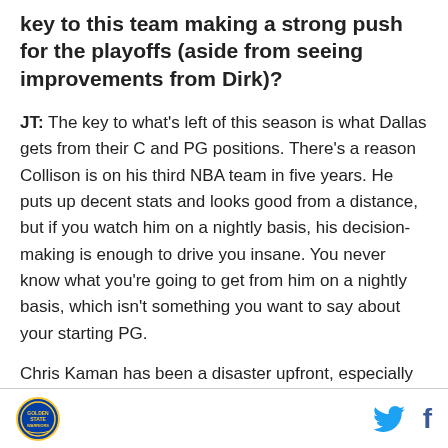key to this team making a strong push for the playoffs (aside from seeing improvements from Dirk)?
JT: The key to what's left of this season is what Dallas gets from their C and PG positions. There's a reason Collison is on his third NBA team in five years. He puts up decent stats and looks good from a distance, but if you watch him on a nightly basis, his decision-making is enough to drive you insane. You never know what you're going to get from him on a nightly basis, which isn't something you want to say about your starting PG.
Chris Kaman has been a disaster upfront, especially now that Dirk is back. He's awful defensively and he's